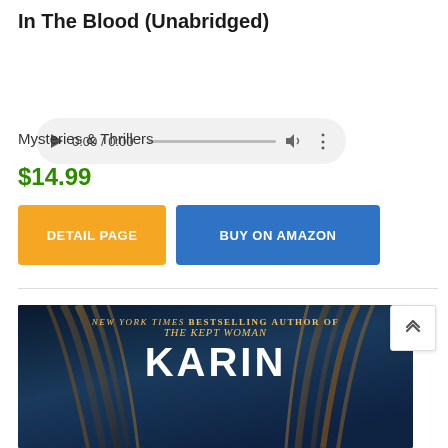In The Blood (Unabridged)
[Figure (screenshot): Audio player widget with play button, time display 0:00 / 0:00, progress bar, volume icon, and options dots]
Mysteries & Thrillers
$14.99
DETAIL PAGE
BUY ON AMAZON
[Figure (photo): Book cover showing dark background with hair, text reading NEW YORK TIMES BESTSELLING AUTHOR OF THE KEPT WOMAN, and author name KARIN at bottom]